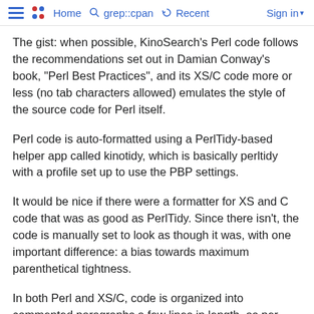Home  grep::cpan  Recent  Sign in
The gist: when possible, KinoSearch's Perl code follows the recommendations set out in Damian Conway's book, "Perl Best Practices", and its XS/C code more or less (no tab characters allowed) emulates the style of the source code for Perl itself.
Perl code is auto-formatted using a PerlTidy-based helper app called kinotidy, which is basically perltidy with a profile set up to use the PBP settings.
It would be nice if there were a formatter for XS and C code that was as good as PerlTidy. Since there isn't, the code is manually set to look as though it was, with one important difference: a bias towards maximum parenthetical tightness.
In both Perl and XS/C, code is organized into commented paragraphs a few lines in length, as per PBP recommendations. Strong efforts are made to